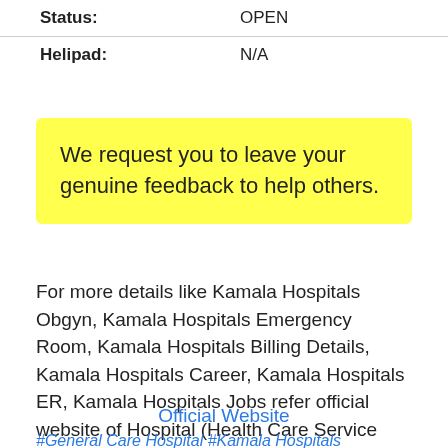| Field | Value |
| --- | --- |
| Status: | OPEN |
| Helipad: | N/A |
We request you to leave your genuine feedback to help others.
For more details like Kamala Hospitals Obgyn, Kamala Hospitals Emergency Room, Kamala Hospitals Billing Details, Kamala Hospitals Career, Kamala Hospitals ER, Kamala Hospitals Jobs refer official website of Hospital (Health Care Service Provider) below.
Official Website
#General Care Hospital #Kamala Hospitals